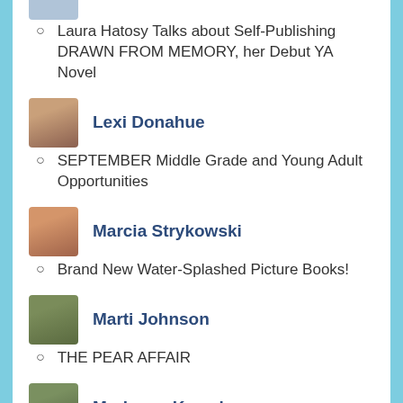[Figure (photo): Partial avatar photo of a person, cropped at top]
Laura Hatosy Talks about Self-Publishing DRAWN FROM MEMORY, her Debut YA Novel
[Figure (photo): Avatar photo of Lexi Donahue]
Lexi Donahue
SEPTEMBER Middle Grade and Young Adult Opportunities
[Figure (photo): Avatar photo of Marcia Strykowski]
Marcia Strykowski
Brand New Water-Splashed Picture Books!
[Figure (photo): Avatar photo of Marti Johnson]
Marti Johnson
THE PEAR AFFAIR
[Figure (photo): Partial avatar photo of Marianne Knowles]
Marianne Knowles